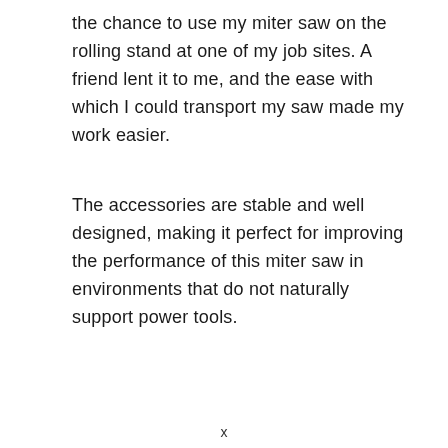the chance to use my miter saw on the rolling stand at one of my job sites. A friend lent it to me, and the ease with which I could transport my saw made my work easier.
The accessories are stable and well designed, making it perfect for improving the performance of this miter saw in environments that do not naturally support power tools.
x